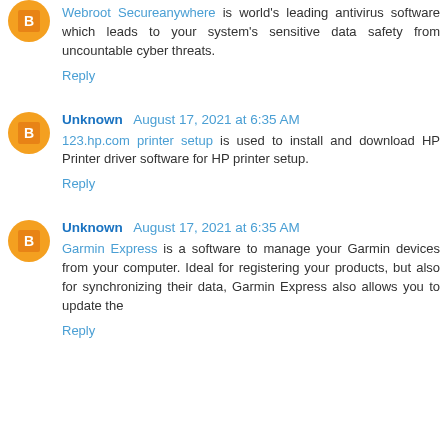Webroot Secureanywhere is world's leading antivirus software which leads to your system's sensitive data safety from uncountable cyber threats.
Reply
Unknown August 17, 2021 at 6:35 AM
123.hp.com printer setup is used to install and download HP Printer driver software for HP printer setup.
Reply
Unknown August 17, 2021 at 6:35 AM
Garmin Express is a software to manage your Garmin devices from your computer. Ideal for registering your products, but also for synchronizing their data, Garmin Express also allows you to update the
Reply